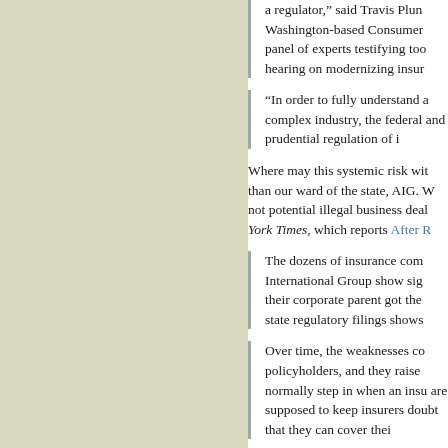a regulator," said Travis Plum Washington-based Consumer panel of experts testifying too hearing on modernizing insur
“In order to fully understand a complex industry, the federal and prudential regulation of i
Where may this systemic risk wit than our ward of the state, AIG. W not potential illegal business deal York Times, which reports After R
The dozens of insurance com International Group show sig their corporate parent got the state regulatory filings shows
Over time, the weaknesses co policyholders, and they raise normally step in when an insu are supposed to keep insurers doubt that they can cover thei